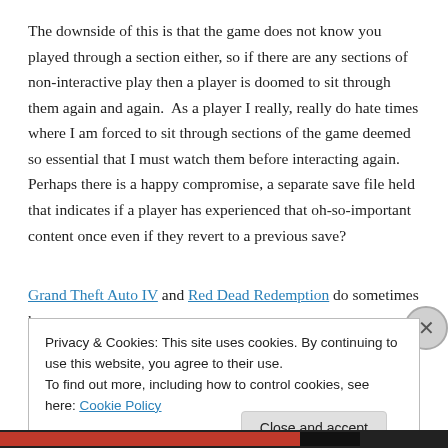The downside of this is that the game does not know you played through a section either, so if there are any sections of non-interactive play then a player is doomed to sit through them again and again.  As a player I really, really do hate times where I am forced to sit through sections of the game deemed so essential that I must watch them before interacting again.  Perhaps there is a happy compromise, a separate save file held that indicates if a player has experienced that oh-so-important content once even if they revert to a previous save?
Grand Theft Auto IV and Red Dead Redemption do sometimes have
Privacy & Cookies: This site uses cookies. By continuing to use this website, you agree to their use.
To find out more, including how to control cookies, see here: Cookie Policy